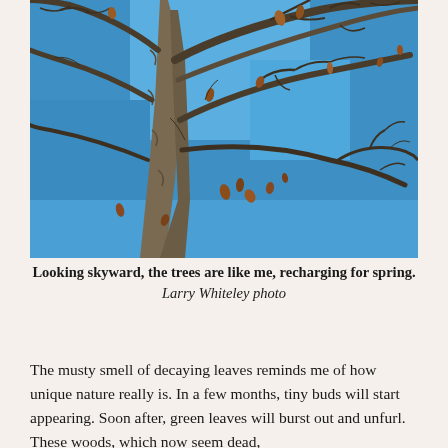[Figure (photo): Upward-looking photograph of a large deciduous tree with bare branches against a bright blue sky, with a few remaining brown leaves clinging to the branches.]
Looking skyward, the trees are like me, recharging for spring. Larry Whiteley photo
The musty smell of decaying leaves reminds me of how unique nature really is. In a few months, tiny buds will start appearing. Soon after, green leaves will burst out and unfurl. These woods, which now seem dead,